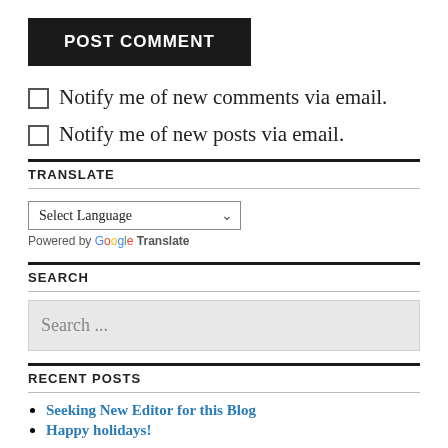POST COMMENT
Notify me of new comments via email.
Notify me of new posts via email.
TRANSLATE
Select Language — Powered by Google Translate
SEARCH
Search ...
RECENT POSTS
Seeking New Editor for this Blog
Happy holidays!